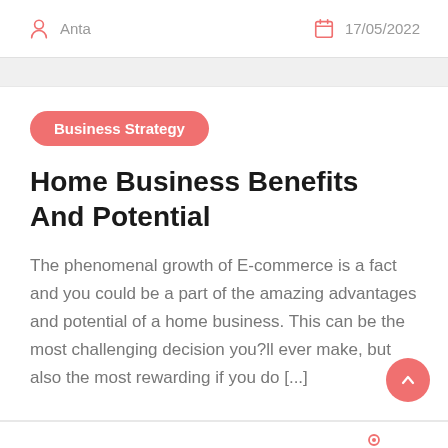Anta   17/05/2022
Business Strategy
Home Business Benefits And Potential
The phenomenal growth of E-commerce is a fact and you could be a part of the amazing advantages and potential of a home business. This can be the most challenging decision you?ll ever make, but also the most rewarding if you do [...]